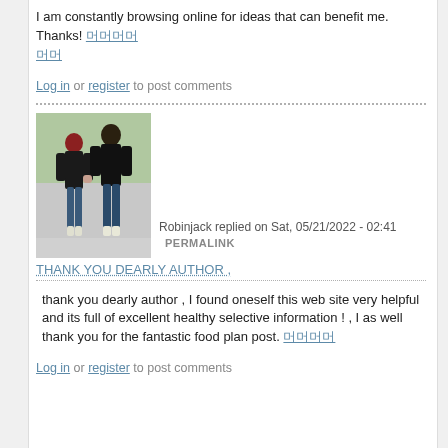I am constantly browsing online for ideas that can benefit me. Thanks! [Chinese characters]
Log in or register to post comments
[Figure (photo): Two people walking together outdoors, wearing dark hoodies and jeans]
Robinjack replied on Sat, 05/21/2022 - 02:41 PERMALINK
THANK YOU DEARLY AUTHOR ,
thank you dearly author , I found oneself this web site very helpful and its full of excellent healthy selective information ! , I as well thank you for the fantastic food plan post. [Chinese characters]
Log in or register to post comments